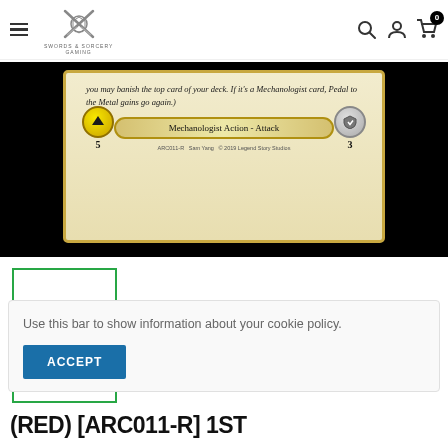Swords & Sorcery gaming store header with navigation icons
[Figure (photo): Flesh and Blood trading card game card showing bottom portion: italic flavor text about banishing top card of deck and Mechanologist card Pedal to the Metal gaining go again. Card type bar reads 'Mechanologist Action - Attack' with cost 5 on left (yellow icon) and defense 3 on right (gray shield icon). Credit line: ARC011-R Sam Yang © 2019 Legend Story Studios. Black background surrounds card.]
[Figure (photo): Small thumbnail image placeholder with green border outline, white interior, showing selected/active card thumbnail]
Use this bar to show information about your cookie policy.
ACCEPT
(RED) [ARC011-R] 1ST